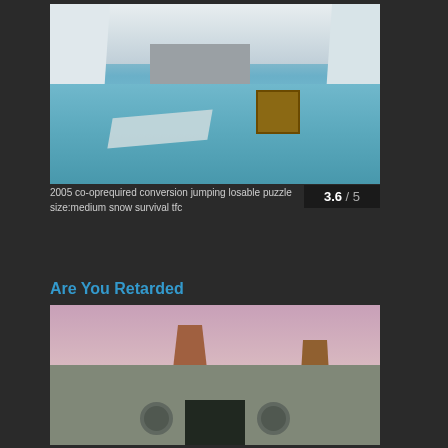[Figure (screenshot): Video game screenshot showing a snowy/icy level with water, ice platforms, a wooden crate, and snow walls]
2005 co-oprequired conversion jumping losable puzzle size:medium snow survival tfc
3.6 / 5
Are You Retarded
[Figure (screenshot): Video game screenshot showing a desert canyon level with rock formations and a bunker-style entrance area]